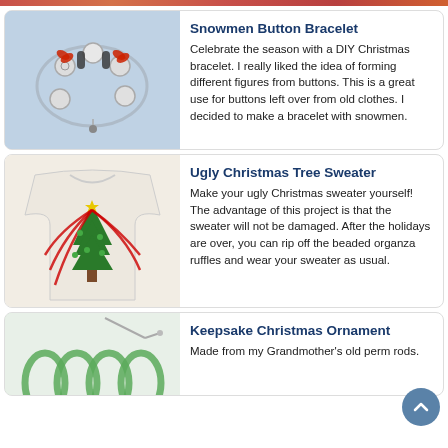[Figure (photo): Top strip showing decorative items (partial, cropped at top)]
[Figure (photo): Photo of a Snowmen Button Bracelet with red bows and button snowmen on a light blue background]
Snowmen Button Bracelet
Celebrate the season with a DIY Christmas bracelet. I really liked the idea of forming different figures from buttons. This is a great use for buttons left over from old clothes. I decided to make a bracelet with snowmen.
[Figure (photo): Photo of an Ugly Christmas Tree Sweater — white sweater with beaded Christmas tree and red bead necklace strands]
Ugly Christmas Tree Sweater
Make your ugly Christmas sweater yourself! The advantage of this project is that the sweater will not be damaged. After the holidays are over, you can rip off the beaded organza ruffles and wear your sweater as usual.
[Figure (photo): Partial photo of Keepsake Christmas Ornament showing green ribbon loops on white background]
Keepsake Christmas Ornament
Made from my Grandmother's old perm rods.